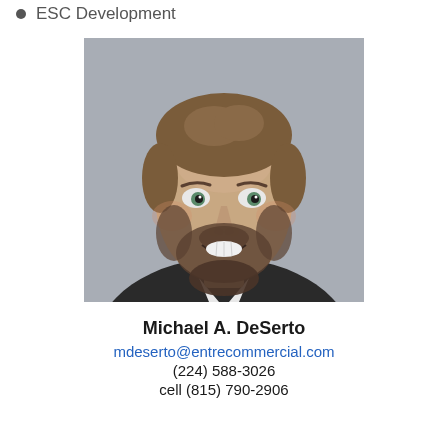ESC Development
[Figure (photo): Professional headshot of Michael A. DeSerto, a man with short brown hair and beard wearing a dark blazer, smiling against a gray background.]
Michael A. DeSerto
mdeserto@entrecommercial.com
(224) 588-3026
cell (815) 790-2906